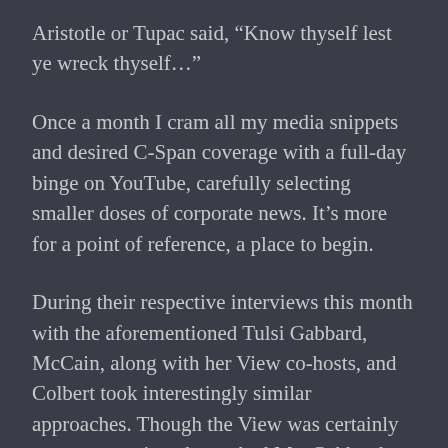Aristotle or Tupac said, “Know thyself lest ye wreck thyself…”
Once a month I cram all my media snippets and desired C-Span coverage with a full-day binge on YouTube, carefully selecting smaller doses of corporate news. It’s more for a point of reference, a place to begin.
During their respective interviews this month with the aforementioned Tulsi Gabbard, McCain, along with her View co-hosts, and Colbert took interestingly similar approaches. Though the View was certainly more aggressive, they asked Ms. Gabbard pretty much the same line of questioning.